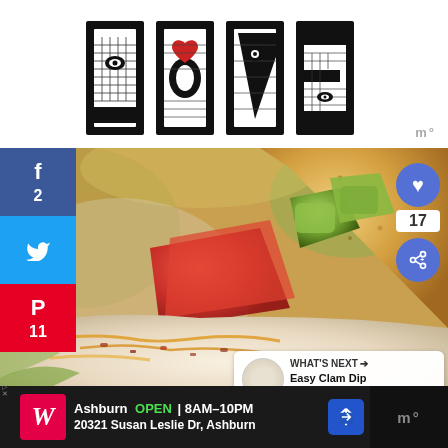[Figure (logo): Decorative LOVE text graphic with ornate black and white letters, heart accent on the letter O]
[Figure (photo): Close-up food photo of a nacho chip loaded with toppings including diced tomatoes, avocado, cheese, and creamy dip]
[Figure (infographic): Social sharing sidebar with Facebook (2 shares), Twitter, and Pinterest (11 pins) buttons on left side]
[Figure (infographic): Heart/save button showing 17, and share button overlaid on the food photo]
WHAT'S NEXT → Easy Clam Dip (Quick Party...
Ashburn OPEN 8AM-10PM 20321 Susan Leslie Dr, Ashburn